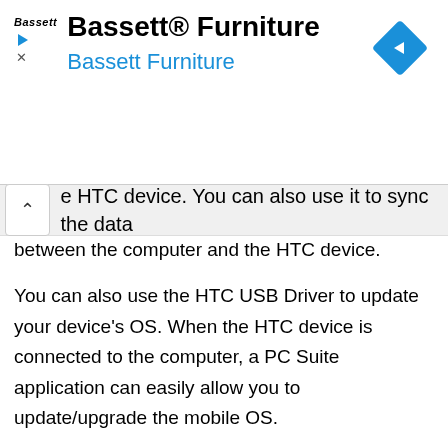[Figure (other): Bassett Furniture advertisement banner with Bassett logo, title 'Bassett® Furniture', subtitle 'Bassett Furniture' in blue, play and close icons, and a blue diamond navigation icon in top right]
e HTC device. You can also use it to sync the data between the computer and the HTC device.
You can also use the HTC USB Driver to update your device's OS. When the HTC device is connected to the computer, a PC Suite application can easily allow you to update/upgrade the mobile OS.
Download HTC USB Driver for Windows
[Figure (other): Two green HTC branded download cards side by side, the left one has a red 'NEW' badge at top]